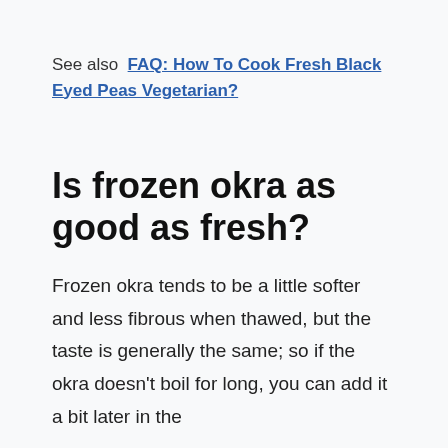See also  FAQ: How To Cook Fresh Black Eyed Peas Vegetarian?
Is frozen okra as good as fresh?
Frozen okra tends to be a little softer and less fibrous when thawed, but the taste is generally the same; so if the okra doesn't boil for long, you can add it a bit later in the cooking process. When it freezes, often…